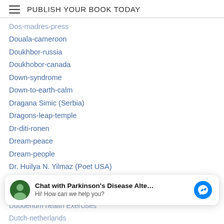PUBLISH YOUR BOOK TODAY
Dos-madres-press
Douala-cameroon
Doukhbor-russia
Doukhobor-canada
Down-syndrome
Down-to-earth-calm
Dragana Simic (Serbia)
Dragons-leap-temple
Dr-diti-ronen
Dream-peace
Dream-people
Dr. Huilya N. Yilmaz (Poet USA)
Dr-jernail-s-anand
Dr-perugu-ramakrishna
[Figure (other): Chat widget: Chat with Parkinson's Disease Alte... Hi! How can we help you?]
Duodenum health Exercises
Dutch-netherlands